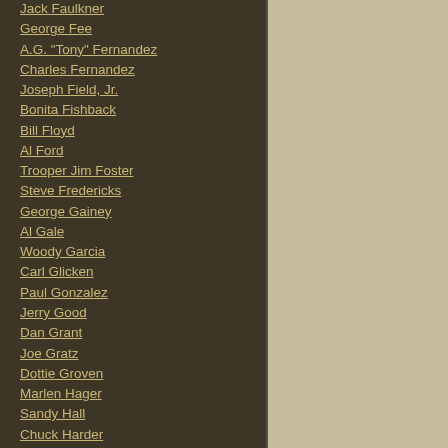Jack Faulkner
George Fee
A.G. "Tony" Fernandez
Charles Fernandez
Joseph Field, Jr.
Bonita Fishback
Bill Floyd
Al Ford
Trooper Jim Foster
Steve Fredericks
George Gainey
Al Gale
Woody Garcia
Carl Glicken
Paul Gonzalez
Jerry Good
Dan Grant
Joe Gratz
Dottie Groven
Marlen Hager
Sandy Hall
Chuck Harder
Dave Harrell
Jack Harris
Ken Hart